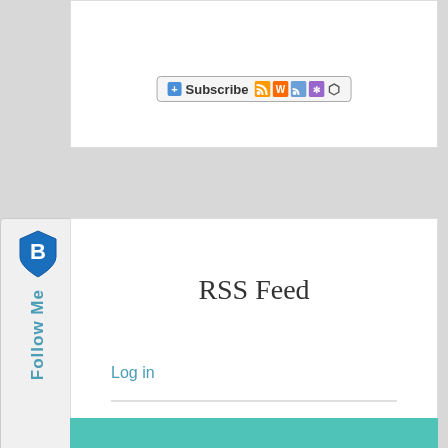[Figure (screenshot): Subscribe button with RSS feed icons]
[Figure (illustration): Follow Me vertical sidebar with blue shield logo]
RSS Feed
Log in
Entries feed
Comments feed
WordPress.org